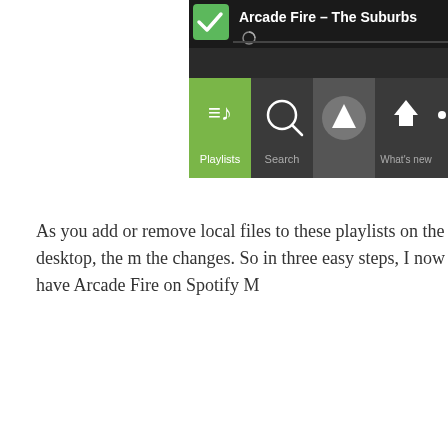[Figure (screenshot): Partial screenshot of Spotify Mobile app showing 'Arcade Fire - The Suburbs' at the top with a green checkmark, and the bottom navigation bar with Playlists (active/green), Search, a circular button, What's new, and a partially visible home icon.]
As you add or remove local files to these playlists on the desktop, the m the changes. So in three easy steps, I now have Arcade Fire on Spotify M